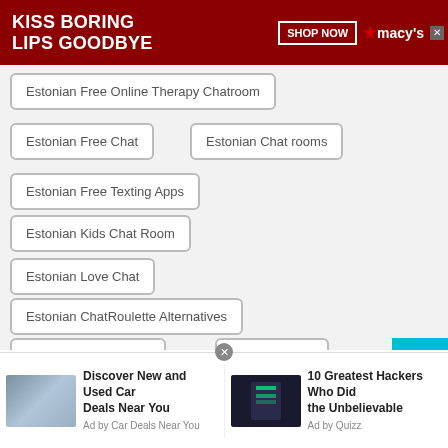[Figure (screenshot): Advertisement banner: KISS BORING LIPS GOODBYE with Macy's branding and SHOP NOW button]
Estonian Free Online Therapy Chatroom
Estonian Free Chat
Estonian Chat rooms
Estonian Free Texting Apps
Estonian Kids Chat Room
Estonian Love Chat
Estonian ChatRoulette Alternatives
Estonian Mobile Chat
Estonian Chat
[Figure (screenshot): Bottom ad: Discover New and Used Car Deals Near You (Ad by Car Deals Near You) and 10 Greatest Hackers Who Did the Unbelievable (Ad by Quizz)]